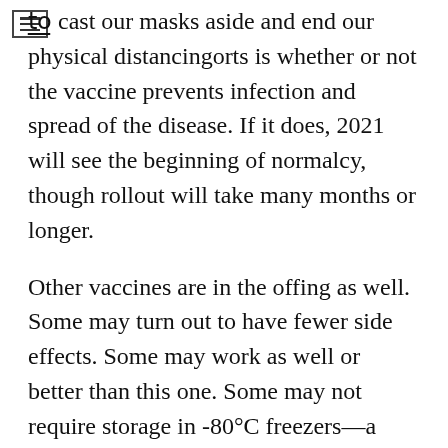to cast our masks aside and end our physical distancing efforts is whether or not the vaccine prevents infection and spread of the disease. If it does, 2021 will see the beginning of normalcy, though rollout will take many months or longer.
Other vaccines are in the offing as well. Some may turn out to have fewer side effects. Some may work as well or better than this one. Some may not require storage in -80°C freezers—a rarity in some parts of the country, and certainly in some regions of the world.
Today's news, though, exceeds expectations. The trial was designed to be "successful" even if it was found to be far less than 90% effective at preventing symptomatic disease. In that light, and with data from